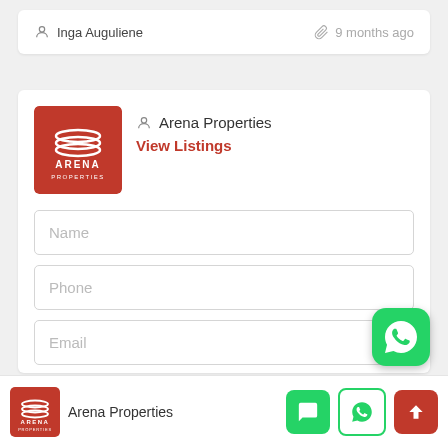Inga Auguliene   9 months ago
[Figure (logo): Arena Properties red square logo with white stacked rings and text ARENA PROPERTIES]
Arena Properties
View Listings
Name
Phone
Email
[Figure (logo): WhatsApp green rounded square floating button]
[Figure (logo): Arena Properties red square logo bottom bar]
Arena Properties